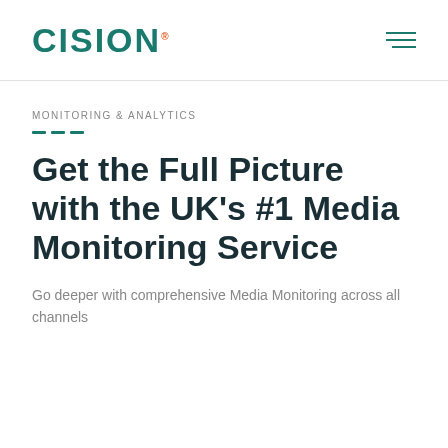CISION
MONITORING & ANALYTICS
Get the Full Picture with the UK's #1 Media Monitoring Service
Go deeper with comprehensive Media Monitoring across all channels